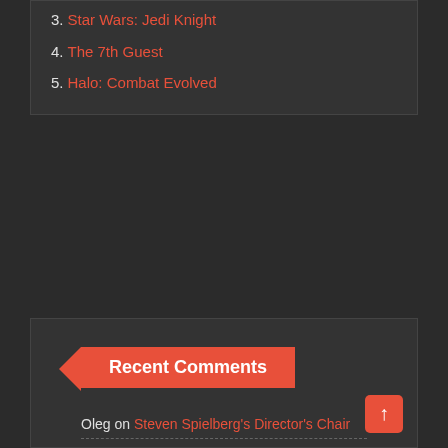3. Star Wars: Jedi Knight
4. The 7th Guest
5. Halo: Combat Evolved
Recent Comments
Oleg on Steven Spielberg's Director's Chair
The J Man on Steven Spielberg's Director's Chair
Oleg on Steven Spielberg's Director's Chair
The J Man on Steven Spielberg's Director's Chair
Oleg on Steven Spielberg's Director's Chair